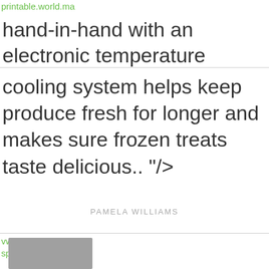printable.world.ma
hand-in-hand with an electronic temperature
cooling system helps keep produce fresh for longer and makes sure frozen treats taste delicious.. "/>
PAMELA WILLIAMS
vw.cc sport